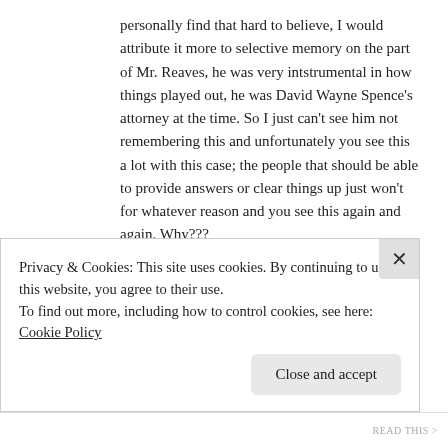personally find that hard to believe, I would attribute it more to selective memory on the part of Mr. Reaves, he was very intstrumental in how things played out, he was David Wayne Spence's attorney at the time. So I just can't see him not remembering this and unfortunately you see this a lot with this case; the people that should be able to provide answers or clear things up just won't for whatever reason and you see this again and again. Why???
In this instance I am talking about the sexual assault comitted by David Spence and Gilbert Melendez and how it came about that they ended up with such differing sentences. When Mr. Reaves was asked he answered Gilbert took a plea and David decided on a
Privacy & Cookies: This site uses cookies. By continuing to use this website, you agree to their use.
To find out more, including how to control cookies, see here: Cookie Policy
Close and accept